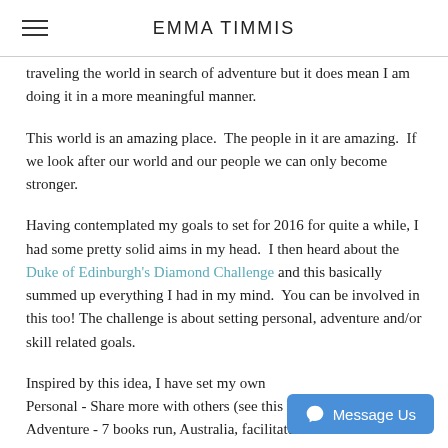EMMA TIMMIS
traveling the world in search of adventure but it does mean I am doing it in a more meaningful manner.
This world is an amazing place.  The people in it are amazing.  If we look after our world and our people we can only become stronger.
Having contemplated my goals to set for 2016 for quite a while, I had some pretty solid aims in my head.  I then heard about the Duke of Edinburgh's Diamond Challenge and this basically summed up everything I had in my mind.  You can be involved in this too! The challenge is about setting personal, adventure and/or skill related goals.
Inspired by this idea, I have set my own Personal - Share more with others (see this blog) Adventure - 7 books run, Australia, facilitate other